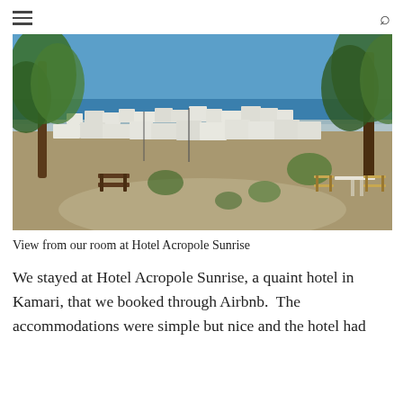≡  🔍
[Figure (photo): Panoramic view from Hotel Acropole Sunrise in Kamari, Santorini. Shows whitewashed buildings spread across hillside with blue sea and sky in background, trees framing the scene, and outdoor café chairs/table in lower right corner.]
View from our room at Hotel Acropole Sunrise
We stayed at Hotel Acropole Sunrise, a quaint hotel in Kamari, that we booked through Airbnb.  The accommodations were simple but nice and the hotel had